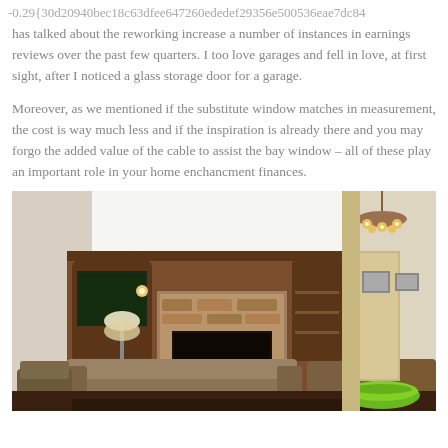-0.29{30d20940bec18c63dfee647260ededef29356e500536eae7dc84
has talked about the reworking increase a number of instances in earnings reviews over the past few quarters. I too love garages and fell in love, at first sight, after I noticed a glass storage door for a garage.
Moreover, as we mentioned if the substitute window matches in measurement, the cost is way much less and if the inspiration is already there and you may forgo the added value of the cable to assist the bay window – all of these play an important role in your home enchancment finances.
[Figure (photo): Interior living room photo showing built-in wooden cabinets with TV, stone fireplace, chandelier, sofas, chairs, and a green bowl on a dark wood table in the foreground.]